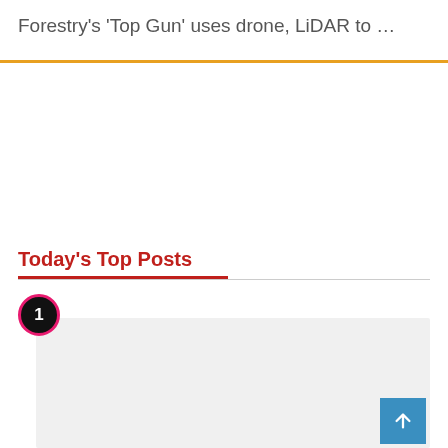Forestry’s ‘Top Gun’ uses drone, LiDAR to …
Today's Top Posts
1